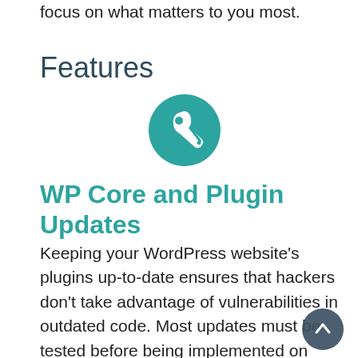focus on what matters to you most.
Features
[Figure (illustration): Teal circle with white wrench/tool icon representing maintenance or settings]
WP Core and Plugin Updates
Keeping your WordPress website's plugins up-to-date ensures that hackers don't take advantage of vulnerabilities in outdated code. Most updates must be tested before being implemented on your live website to ensure that there are no conflicts with other WordPress
[Figure (illustration): Dark gray circular scroll-to-top button with upward arrow icon]